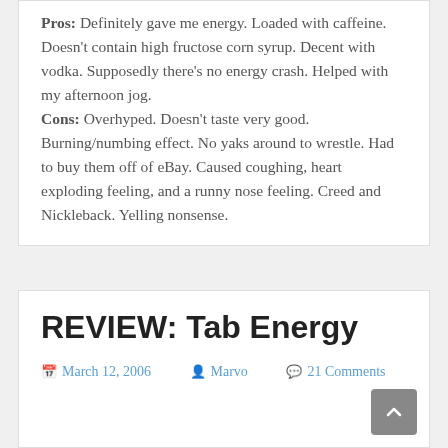Pros: Definitely gave me energy. Loaded with caffeine. Doesn't contain high fructose corn syrup. Decent with vodka. Supposedly there's no energy crash. Helped with my afternoon jog. Cons: Overhyped. Doesn't taste very good. Burning/numbing effect. No yaks around to wrestle. Had to buy them off of eBay. Caused coughing, heart exploding feeling, and a runny nose feeling. Creed and Nickleback. Yelling nonsense.
REVIEW: Tab Energy
March 12, 2006   Marvo   21 Comments